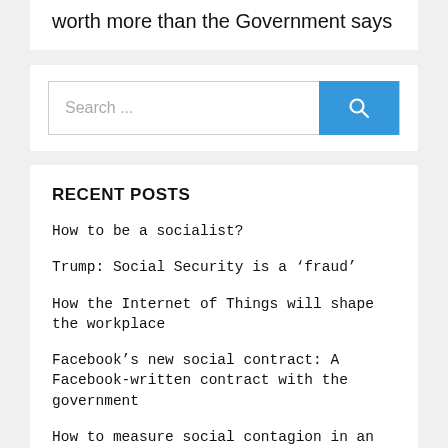worth more than the Government says
Search ...
RECENT POSTS
How to be a socialist?
Trump: Social Security is a ‘fraud’
How the Internet of Things will shape the workplace
Facebook’s new social contract: A Facebook-written contract with the government
How to measure social contagion in an economy